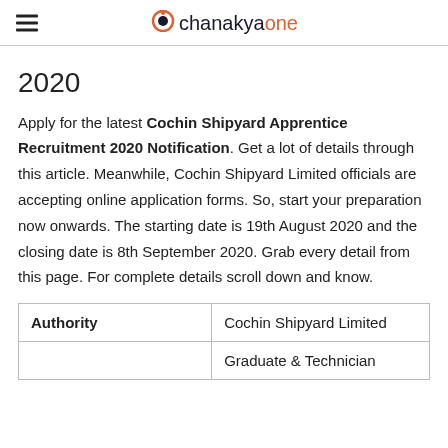chanakyaone
2020
Apply for the latest Cochin Shipyard Apprentice Recruitment 2020 Notification. Get a lot of details through this article. Meanwhile, Cochin Shipyard Limited officials are accepting online application forms. So, start your preparation now onwards. The starting date is 19th August 2020 and the closing date is 8th September 2020. Grab every detail from this page. For complete details scroll down and know.
| Authority |  |
| --- | --- |
| Authority | Cochin Shipyard Limited |
|  | Graduate & Technician |